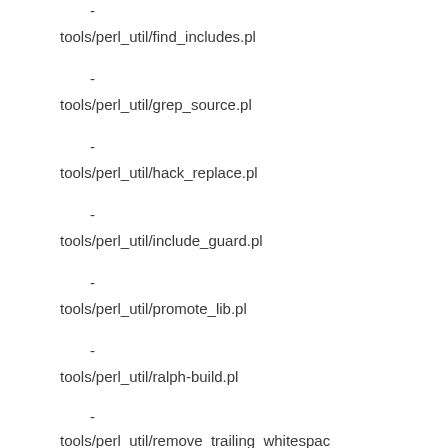-
tools/perl_util/find_includes.pl
-
tools/perl_util/grep_source.pl
-
tools/perl_util/hack_replace.pl
-
tools/perl_util/include_guard.pl
-
tools/perl_util/promote_lib.pl
-
tools/perl_util/ralph-build.pl
-
tools/perl_util/remove_trailing_whitespac